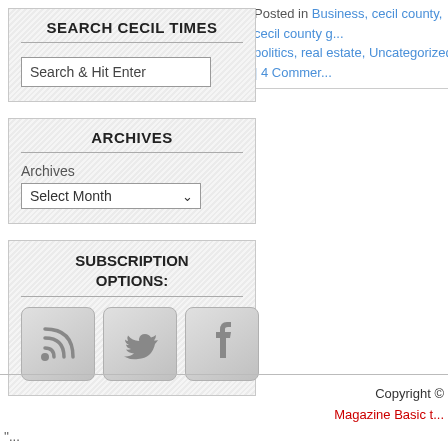Posted in Business, cecil county, cecil county g... politics, real estate, Uncategorized | 4 Commen...
SEARCH CECIL TIMES
Search & Hit Enter
ARCHIVES
Archives
Select Month
SUBSCRIPTION OPTIONS:
[Figure (illustration): Three social media icon buttons: RSS feed icon, Twitter bird icon, Facebook 'f' icon, each in a rounded grey square button.]
Copyright © Magazine Basic t...